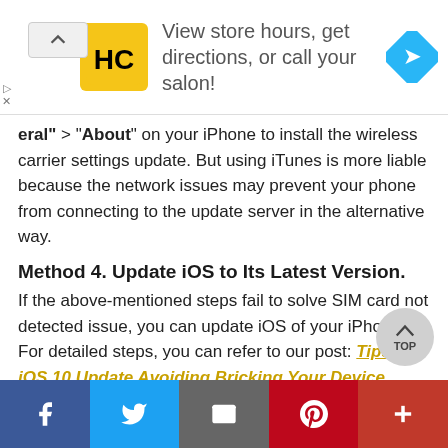[Figure (infographic): Advertisement banner: HC logo (yellow rounded square with HC text), ad text 'View store hours, get directions, or call your salon!', blue diamond navigation icon on right. Small play and X controls on left edge.]
eral" > "About" on your iPhone to install the wireless carrier settings update. But using iTunes is more liable because the network issues may prevent your phone from connecting to the update server in the alternative way.
Method 4. Update iOS to Its Latest Version.
If the above-mentioned steps fail to solve SIM card not detected issue, you can update iOS of your iPhone. For detailed steps, you can refer to our post: Tips on iOS 10 Update Avoiding Bricking Your Device
[Figure (other): Share/social bar at bottom: Facebook (dark blue), Twitter (blue), Email (gray), Pinterest (red), More/Plus (dark red) buttons]
[Figure (other): TOP scroll-to-top circular button, gray, with upward chevron and TOP label]